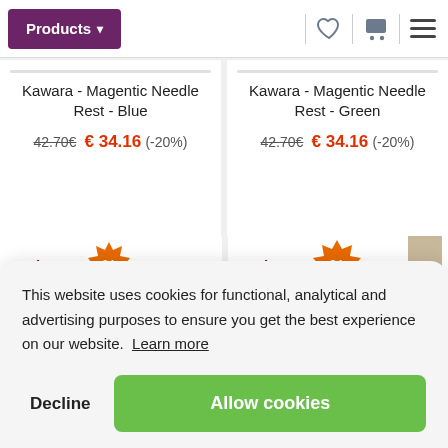Products ▾
Kawara - Magentic Needle Rest - Blue
42.70€ € 34.16 (-20%)
Cohana
Kawara - Magentic Needle Rest - Green
42.70€ € 34.16 (-20%)
Cohana
This website uses cookies for functional, analytical and advertising purposes to ensure you get the best experience on our website.  Learn more
Decline
Allow cookies
Kawara - Magentic Needle
Kawara - Magentic Needle